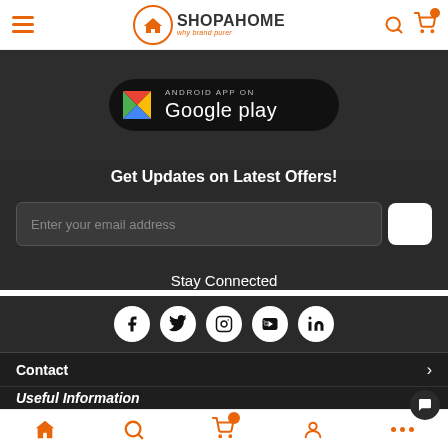SHOPAHOME - why brand purer
[Figure (screenshot): Google Play store download button on dark background]
Get Updates on Latest Offers!
Enter your email address
Stay Connected
[Figure (infographic): Social media icons: Facebook, Twitter, Instagram, YouTube, LinkedIn]
Contact
Useful Information
Home, Search, Cart, Account, More navigation icons